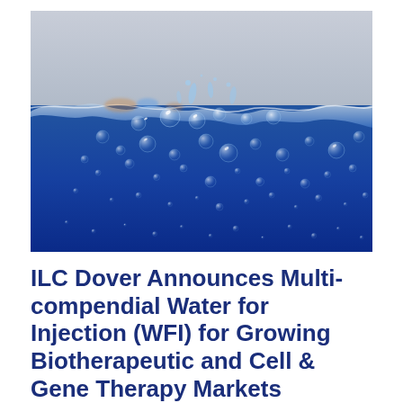[Figure (photo): Close-up photograph of water surface showing water bubbles and splashing water against a blue background. The upper portion shows a light gray/white sky, and the lower portion shows deep blue water with numerous air bubbles of various sizes.]
ILC Dover Announces Multi-compendial Water for Injection (WFI) for Growing Biotherapeutic and Cell & Gene Therapy Markets